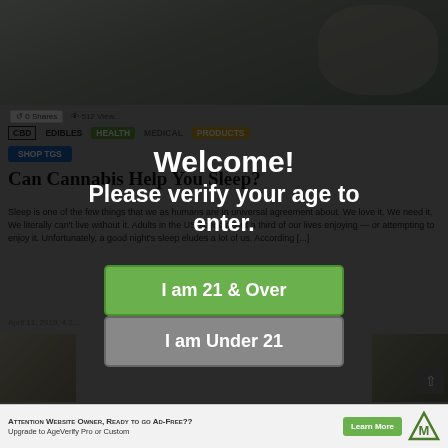[Figure (screenshot): Background website page showing cannabis health article with navigation, title 'Can Cannabis Help You Sleep?', and article excerpt, dimmed behind modal overlay]
Welcome!
Please verify your age to enter.
I am 21 & Over
I am Under 21
Attention Website Owner, Ready to go Ad-Free?? Upgrade to AgeVerify Pro or Custom
Learn More